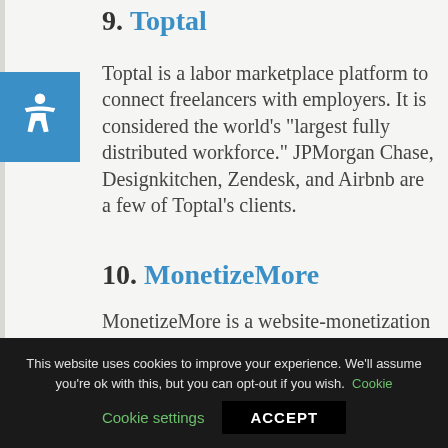9. Toptal
Toptal is a labor marketplace platform to connect freelancers with employers. It is considered the world's “largest fully distributed workforce.” JPMorgan Chase, Designkitchen, Zendesk, and Airbnb are a few of Toptal’s clients.
10. MonetizeMore
MonetizeMore is a website-monetization business offering
This website uses cookies to improve your experience. We'll assume you're ok with this, but you can opt-out if you wish. Cookie settings ACCEPT